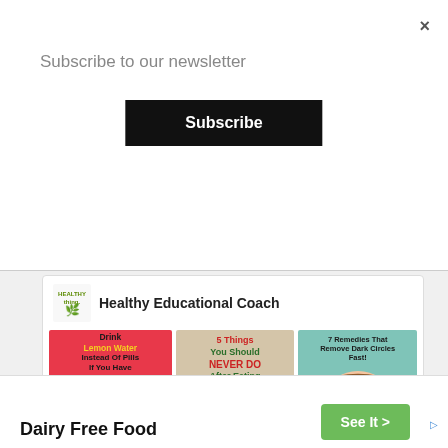×
Subscribe to our newsletter
Subscribe
[Figure (screenshot): Healthy Educational Coach social media widget showing three health article thumbnail images: 1) Drink Lemon Water Instead Of Pills If You Have One Of These 13 Problems, 2) 5 Things You Should NEVER DO After Eating, 3) 7 Remedies That Remove Dark Circles Fast! with a BEFORE label and eye illustration]
Search for
×
Dairy Free Food
See It >